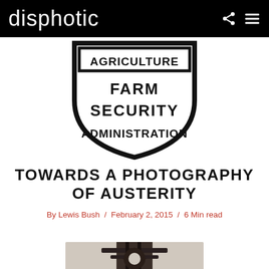disphotic
[Figure (illustration): Shield-shaped badge logo reading AGRICULTURE / FARM SECURITY ADMINISTRATION in bold black text on white background with thick border]
TOWARDS A PHOTOGRAPHY OF AUSTERITY
By Lewis Bush / February 2, 2015 / 6 Min read
[Figure (photo): Black and white photograph partially visible at bottom of page, appears to show a mechanical or agricultural implement]